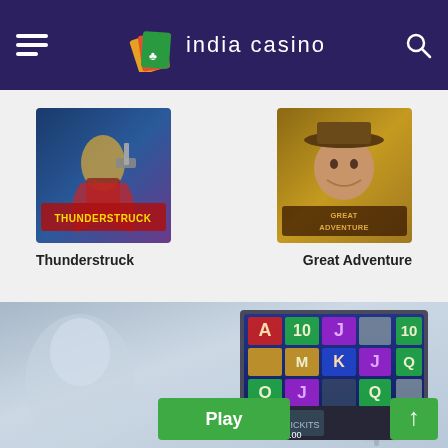India Casino
[Figure (screenshot): Thunderstruck slot game thumbnail]
Thunderstruck
[Figure (screenshot): Great Adventure slot game thumbnail]
Great Adventure
[Figure (screenshot): Slot game banner with Play button and scroll-up arrow]